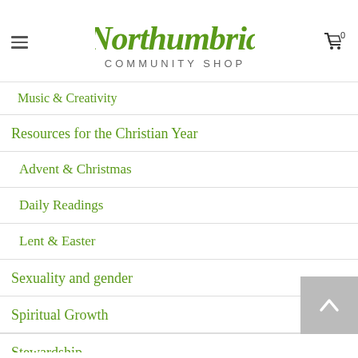Northumbria Community Shop
Music & Creativity
Resources for the Christian Year
Advent & Christmas
Daily Readings
Lent & Easter
Sexuality and gender
Spiritual Growth